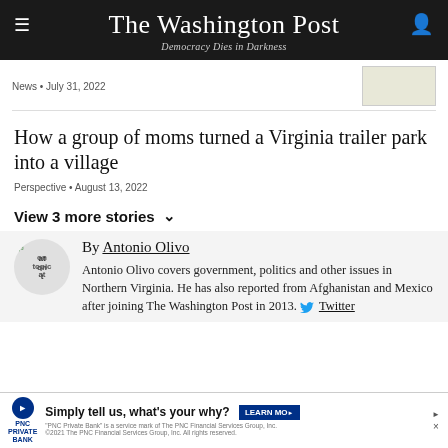The Washington Post
Democracy Dies in Darkness
News • July 31, 2022
How a group of moms turned a Virginia trailer park into a village
Perspective • August 13, 2022
View 3 more stories
By Antonio Olivo
Antonio Olivo covers government, politics and other issues in Northern Virginia. He has also reported from Afghanistan and Mexico after joining The Washington Post in 2013. Twitter